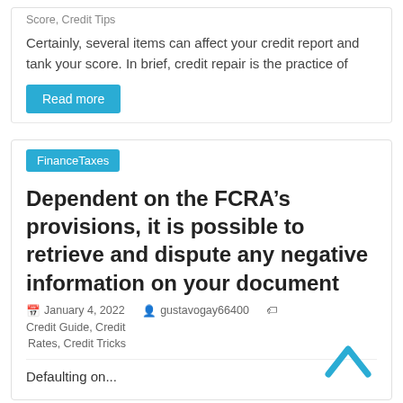Score, Credit Tips
Certainly, several items can affect your credit report and tank your score. In brief, credit repair is the practice of
Read more
FinanceTaxes
Dependent on the FCRA’s provisions, it is possible to retrieve and dispute any negative information on your document
January 4, 2022   gustavogay66400   Credit Guide, Credit Rates, Credit Tricks
Defaulting on...